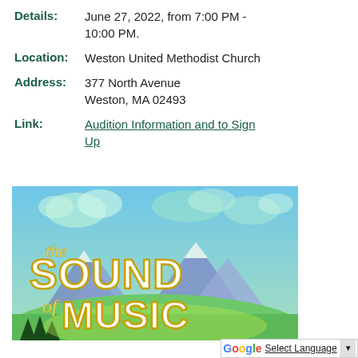Details: June 27, 2022, from 7:00 PM - 10:00 PM.
Location: Weston United Methodist Church
Address: 377 North Avenue
Weston, MA 02493
Link: Audition Information and to Sign Up
[Figure (illustration): Illustrated poster for 'The Sound of Music' showing mountains, green hills, sky with clouds, and stylized text reading 'the SOUND of MUSIC' in white and gold letters.]
Select Language ▼